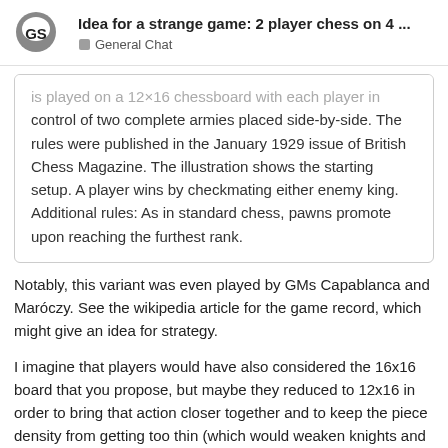Idea for a strange game: 2 player chess on 4 ...
is played on a 12×16 chessboard with each player in control of two complete armies placed side-by-side. The rules were published in the January 1929 issue of British Chess Magazine. The illustration shows the starting setup. A player wins by checkmating either enemy king. Additional rules: As in standard chess, pawns promote upon reaching the furthest rank.
Notably, this variant was even played by GMs Capablanca and Maróczy. See the wikipedia article for the game record, which might give an idea for strategy.
I imagine that players would have also considered the 16x16 board that you propose, but maybe they reduced to 12x16 in order to bring that action closer together and to keep the piece density from getting too thin (which would weaken knights and favor bishops, rooks, queens).
Another well-known variant that increases